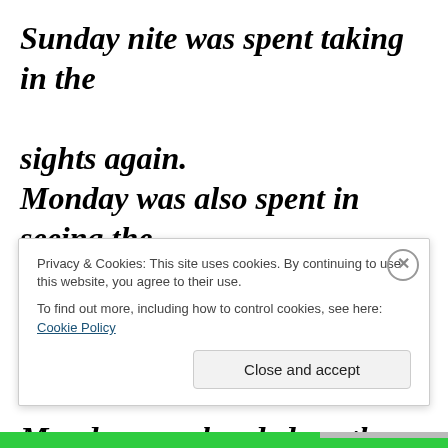Sunday nite was spent taking in the sights again.
Monday was also spent in seeing the sights and we left Portland at 6:00 o'clock Monday p.m. headed south.
We ate a swell supper in Salem (the State
Privacy & Cookies: This site uses cookies. By continuing to use this website, you agree to their use.
To find out more, including how to control cookies, see here: Cookie Policy
Close and accept